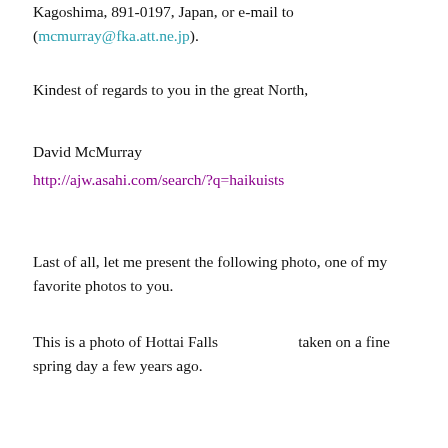Kagoshima, 891-0197, Japan, or e-mail to (mcmurray@fka.att.ne.jp).
Kindest of regards to you in the great North,
David McMurray
http://ajw.asahi.com/search/?q=haikuists
Last of all, let me present the following photo, one of my favorite photos to you.
This is a photo of Hottai Falls（ほったいの滝）taken on a fine spring day a few years ago.